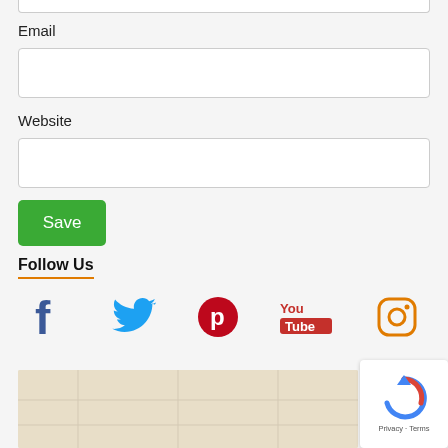Email
Website
Save
Follow Us
[Figure (infographic): Row of social media icons: Facebook (blue f), Twitter (blue bird), Pinterest (red P circle), YouTube (red/black You Tube logo), Instagram (orange/yellow camera outline)]
[Figure (map): Partial map view with beige/tan background]
[Figure (other): reCAPTCHA widget with spinning arrow logo. Footer text: Privacy - Terms]